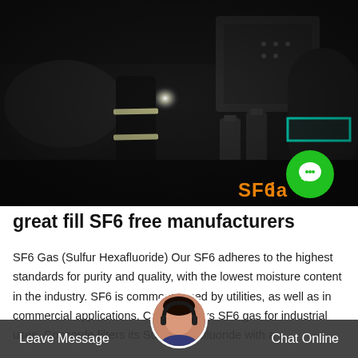[Figure (photo): Industrial facility interior, dark environment with gas cylinders, machinery, and a worker in reflective gear. Green rectangle visible on right side of image. SF6 China watermark and green chat bubble icon overlaid at bottom right.]
great fill SF6 free manufacturers
SF6 Gas (Sulfur Hexafluoride) Our SF6 adheres to the highest standards for purity and quality, with the lowest moisture content in the industry. SF6 is commonly used by utilities, as well as in commercial applications. Co... so offers SF6 gas for industrial uses. Concorde filters its Sulfur Hexafluoride with a